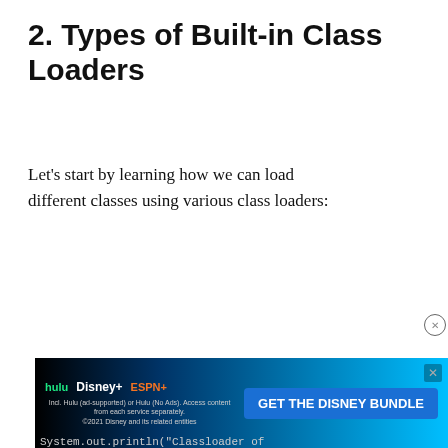2. Types of Built-in Class Loaders
Let's start by learning how we can load different classes using various class loaders:
[Figure (screenshot): Code block showing a Java method 'printClassLoaders()' with a video popup overlay (Ubuntu 19.04 Desktop Tour) partially covering it, and a Disney Bundle advertisement banner at the bottom.]